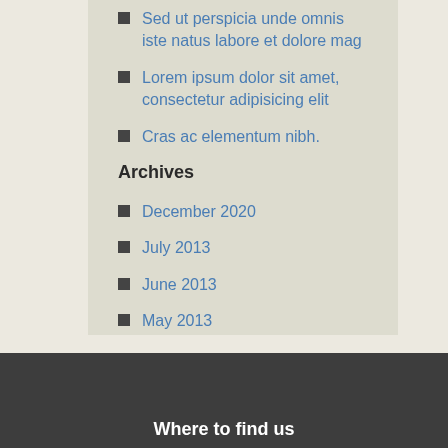Sed ut perspicia unde omnis iste natus labore et dolore mag
Lorem ipsum dolor sit amet, consectetur adipisicing elit
Cras ac elementum nibh.
Archives
December 2020
July 2013
June 2013
May 2013
Where to find us